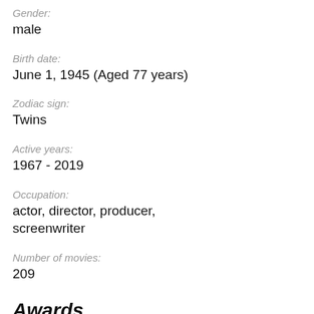Gender:
male
Birth date:
June 1, 1945 (Aged 77 years)
Zodiac sign:
Twins
Active years:
1967 - 2019
Occupation:
actor, director, producer, screenwriter
Number of movies:
209
Awards
Hong Kong Film Award
2009  Accident
Best supporting actor